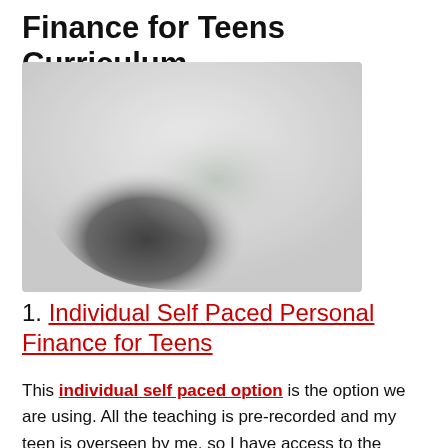Finance for Teens Curriculum
[Figure (photo): Blurred/redacted image, appears to show a dark blurred subject on a light background]
1. Individual Self Paced Personal Finance for Teens
This individual self paced option is the option we are using. All the teaching is pre-recorded and my teen is overseen by me, so I have access to the teacher portal. It